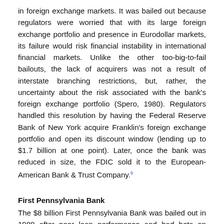in foreign exchange markets. It was bailed out because regulators were worried that with its large foreign exchange portfolio and presence in Eurodollar markets, its failure would risk financial instability in international financial markets. Unlike the other too-big-to-fail bailouts, the lack of acquirers was not a result of interstate branching restrictions, but, rather, the uncertainty about the risk associated with the bank's foreign exchange portfolio (Spero, 1980). Regulators handled this resolution by having the Federal Reserve Bank of New York acquire Franklin's foreign exchange portfolio and open its discount window (lending up to $1.7 billion at one point). Later, once the bank was reduced in size, the FDIC sold it to the European-American Bank & Trust Company.⁹
First Pennsylvania Bank
The $8 billion First Pennsylvania Bank was bailed out in 1980 after poor loan performance and bad bets on interest rates. As with Commonwealth and Franklin, the FDIC's preferred solution was to find an acquirer for the failing bank. Unfortunately, this was difficult because Pennsylvania did not allow acquisitions by out-of-state banks. The only in-state bank large enough to purchase First Penn was the Pittsburgh-based Mellon bank, but such a transaction would have given Mellon an unacceptable 26 percent market share in